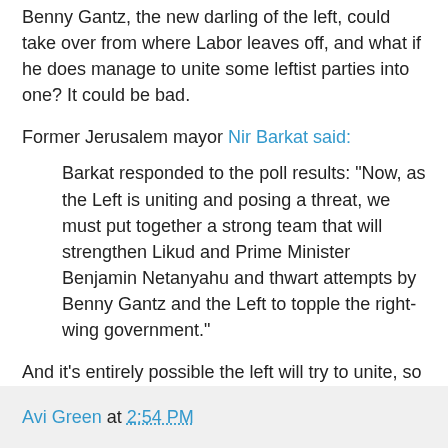Benny Gantz, the new darling of the left, could take over from where Labor leaves off, and what if he does manage to unite some leftist parties into one? It could be bad.
Former Jerusalem mayor Nir Barkat said:
Barkat responded to the poll results: "Now, as the Left is uniting and posing a threat, we must put together a strong team that will strengthen Likud and Prime Minister Benjamin Netanyahu and thwart attempts by Benny Gantz and the Left to topple the right-wing government."
And it's entirely possible the left will try to unite, so the right had better make sure they don't make mistakes by running separately, and do some mergers to help the cause of Israel. This is serious business, and it would do everyone a lot of good if they'd prove their capability of remaining united for the election.
Avi Green at 2:54 PM